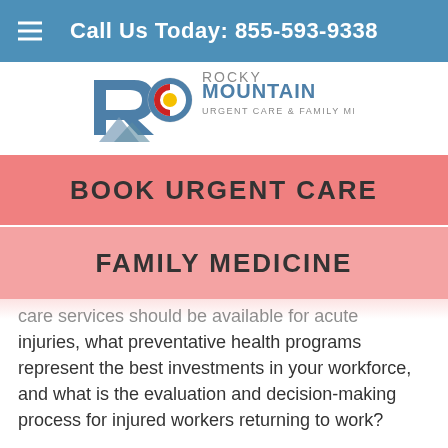Call Us Today: 855-593-9338
[Figure (logo): Rocky Mountain Urgent Care & Family Medicine logo with stylized R and Colorado flag icon]
BOOK URGENT CARE
FAMILY MEDICINE
care services should be available for acute injuries, what preventative health programs represent the best investments in your workforce, and what is the evaluation and decision-making process for injured workers returning to work?
Available occupational medicine for determining employee health requirements include onsite (or offsite) drug screens, fit-